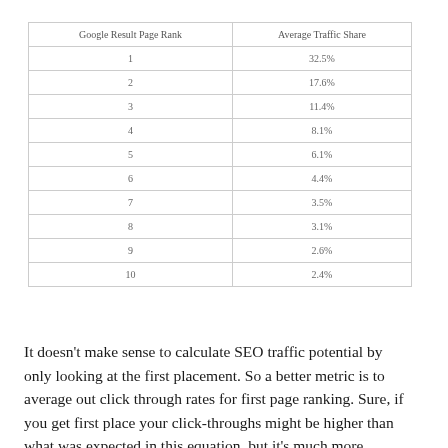| Google Result Page Rank | Average Traffic Share |
| --- | --- |
| 1 | 32.5% |
| 2 | 17.6% |
| 3 | 11.4% |
| 4 | 8.1% |
| 5 | 6.1% |
| 6 | 4.4% |
| 7 | 3.5% |
| 8 | 3.1% |
| 9 | 2.6% |
| 10 | 2.4% |
It doesn't make sense to calculate SEO traffic potential by only looking at the first placement. So a better metric is to average out click through rates for first page ranking. Sure, if you get first place your click-throughs might be higher than what was expected in this equation, but it's much more realistic, as it